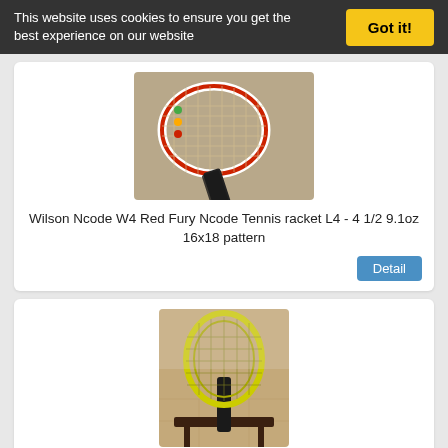This website uses cookies to ensure you get the best experience on our website
Got it!
[Figure (photo): Wilson Ncode W4 Red Fury tennis racket on a carpet, white and red frame with black handle]
Wilson Ncode W4 Red Fury Ncode Tennis racket L4 - 4 1/2 9.1oz 16x18 pattern
Detail
[Figure (photo): Wilson Ncode W4 Savace Lime yellow-green tennis racquet standing on a wooden stand on tile floor]
Wilson Ncode W4 Savace Lime Tennis Racquet 4 3/8"
Detail